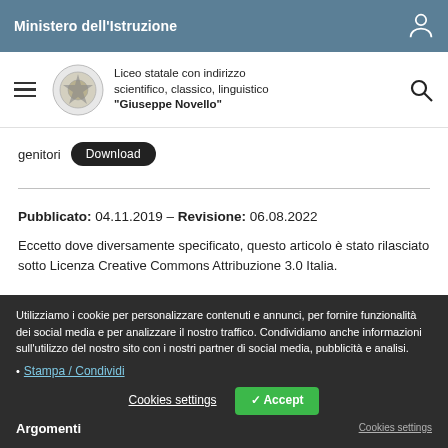Ministero dell'Istruzione
Liceo statale con indirizzo scientifico, classico, linguistico "Giuseppe Novello"
genitori Download
Pubblicato: 04.11.2019 – Revisione: 06.08.2022
Eccetto dove diversamente specificato, questo articolo è stato rilasciato sotto Licenza Creative Commons Attribuzione 3.0 Italia.
Utilizziamo i cookie per personalizzare contenuti e annunci, per fornire funzionalità dei social media e per analizzare il nostro traffico. Condividiamo anche informazioni sull'utilizzo del nostro sito con i nostri partner di social media, pubblicità e analisi.
Stampa / Condividi
Argomenti
Cookies settings
Accept